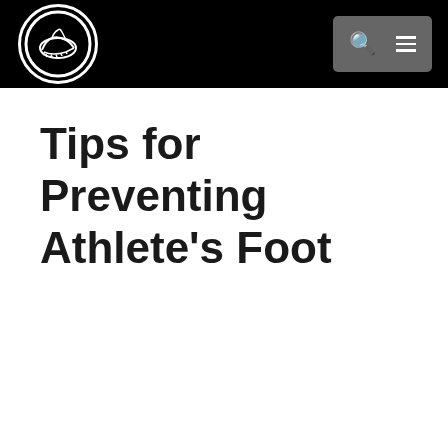Tips for Preventing Athlete’s Foot